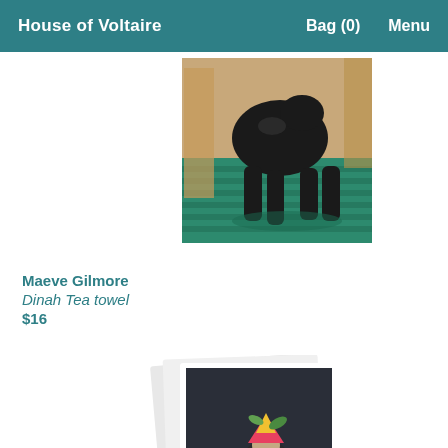House of Voltaire   Bag (0)   Menu
[Figure (photo): A black dog standing on a green striped surface, painted artwork on tea towel]
Maeve Gilmore
Dinah Tea towel
$16
[Figure (photo): A pack of greeting cards showing a figure wearing a colourful hat with birds and foliage, set against a dark background]